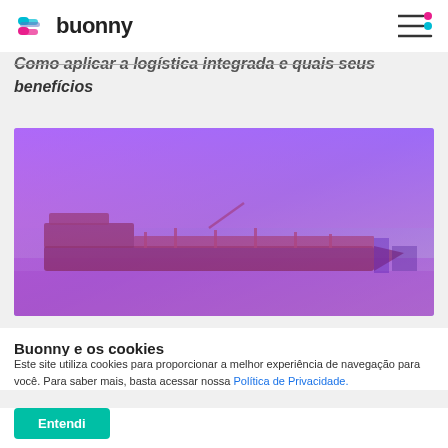buonny
Como aplicar a logística integrada e quais seus benefícios
[Figure (photo): Cargo/tanker ship at port with a purple-blue color overlay gradient]
Buonny e os cookies
Este site utiliza cookies para proporcionar a melhor experiência de navegação para você. Para saber mais, basta acessar nossa Política de Privacidade.
Entendi